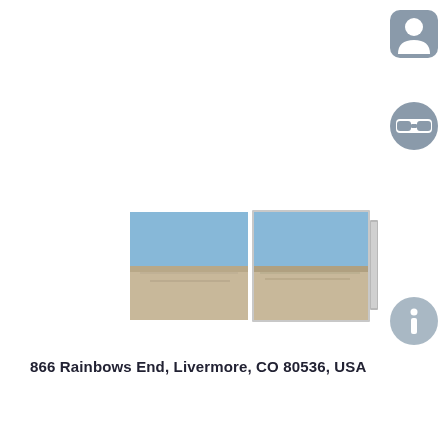[Figure (screenshot): UI icon: rounded square button with a person/user silhouette icon, gray colored, positioned top right]
[Figure (screenshot): UI icon: circular VR/Google Cardboard goggles icon, gray colored, positioned right side]
[Figure (photo): Two side-by-side panoramic landscape photos showing a desert/arid scene with blue sky and flat sandy terrain. Left image is slightly larger, right image is in a frame-like border. Small vertical strip to the right of the right image.]
[Figure (screenshot): UI icon: circular info 'i' icon, gray colored, positioned right side below VR icon]
866 Rainbows End, Livermore, CO 80536, USA